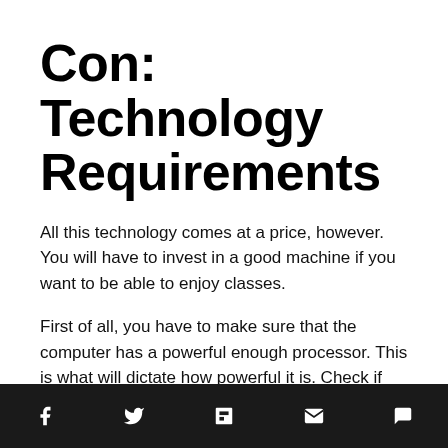Con: Technology Requirements
All this technology comes at a price, however. You will have to invest in a good machine if you want to be able to enjoy classes.
First of all, you have to make sure that the computer has a powerful enough processor. This is what will dictate how powerful it is. Check if the computer has an Intel Core i3/i5/i7 or AMD A processor. These can be expensive, but a worthy investment. Next, make sure that it has a great graphics processor, at least 2GB of RAM
Social share bar with icons: Facebook, Twitter, Flipboard, Email, Comment